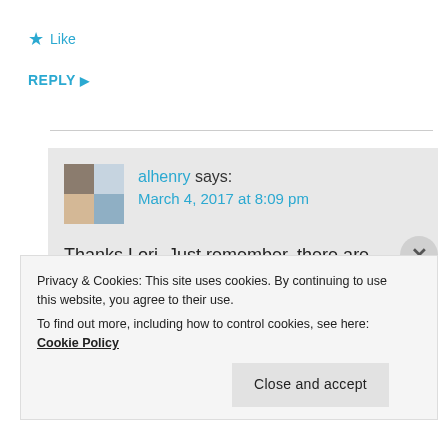★ Like
REPLY ▶
alhenry says: March 4, 2017 at 8:09 pm
Thanks Lori. Just remember, there are millions and millions of us who love Canada and Canadians. Don't let Justin Trudeau build a wall
Privacy & Cookies: This site uses cookies. By continuing to use this website, you agree to their use. To find out more, including how to control cookies, see here: Cookie Policy
Close and accept